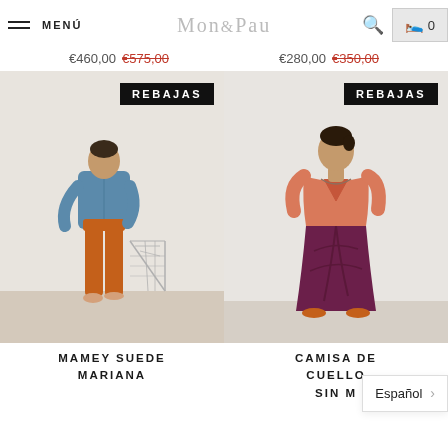MENÚ | MON&PAU | Search | Cart 0
€460,00 €575,00 | €280,00 €350,00
[Figure (photo): Fashion product photo: woman wearing orange trousers and denim jacket, standing next to a wire chair. Black REBAJAS badge in top right corner.]
[Figure (photo): Fashion product photo: woman wearing orange top and purple draped midi skirt. Black REBAJAS badge in top right corner.]
MAMEY SUEDE MARIANA
CAMISA DE CUELLO SIN M...
Español >